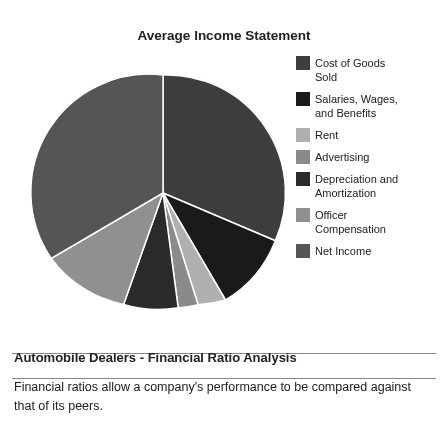[Figure (pie-chart): Average Income Statement]
Automobile Dealers - Financial Ratio Analysis
Financial ratios allow a company's performance to be compared against that of its peers.